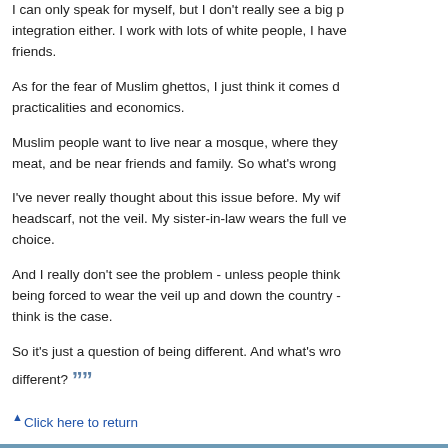I can only speak for myself, but I don't really see a big problem with integration either. I work with lots of white people, I have white friends.
As for the fear of Muslim ghettos, I just think it comes down to practicalities and economics.
Muslim people want to live near a mosque, where they can buy halal meat, and be near friends and family. So what's wrong with that?
I've never really thought about this issue before. My wife wears the headscarf, not the veil. My sister-in-law wears the full veil by choice.
And I really don't see the problem - unless people think women are being forced to wear the veil up and down the country - which I don't think is the case.
So it's just a question of being different. And what's wrong with being different? ””
^ Click here to return
JUBRIL ALAO, 23, LONDON, IT ANALYST
““ Jack Straw has a right to say what he wants, but I worry about the impact his words will have as such a prominent politician.
For me, the veil is a personal and religious issue, not a